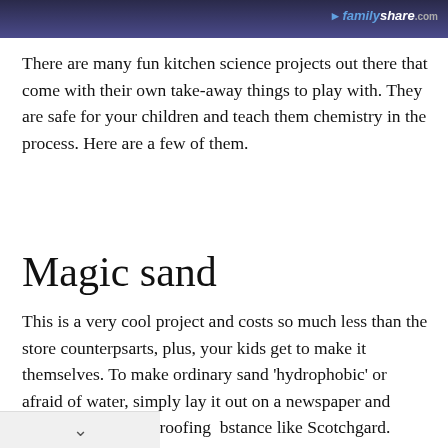familyshare.com
There are many fun kitchen science projects out there that come with their own take-away things to play with. They are safe for your children and teach them chemistry in the process. Here are a few of them.
Magic sand
This is a very cool project and costs so much less than the store counterpsarts, plus, your kids get to make it themselves. To make ordinary sand 'hydrophobic' or afraid of water, simply lay it out on a newspaper and spray with a waterproofing substance like Scotchgard. Allow to dry and then